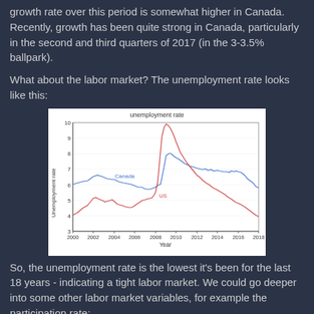growth rate over this period is somewhat higher in Canada. Recently, growth has been quite strong in Canada, particularly in the second and third quarters of 2017 (in the 3-3.5% ballpark).
What about the labor market? The unemployment rate looks like this:
[Figure (line-chart): unemployment rate]
So, the unemployment rate is the lowest it's been for the last 18 years - indicating a tight labor market. We could go deeper into some other labor market variables, for example the participation rate: